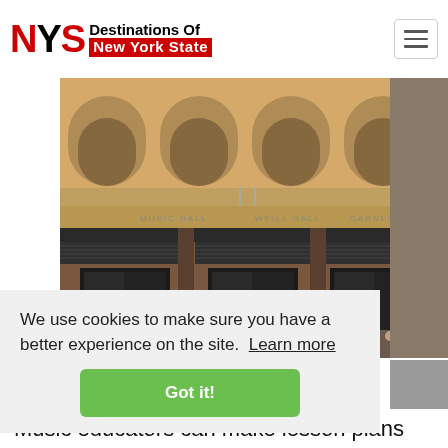NYS Destinations Of New York State
[Figure (photo): Exterior facade of Carnegie Hall or similar Beaux-Arts building in New York City with arched windows, ornate stonework, and modern canopy/awning structures at street level with pedestrians visible.]
We use cookies to make sure you have a better experience on the site. Learn more
Got it!
Music educators can make lesson plans